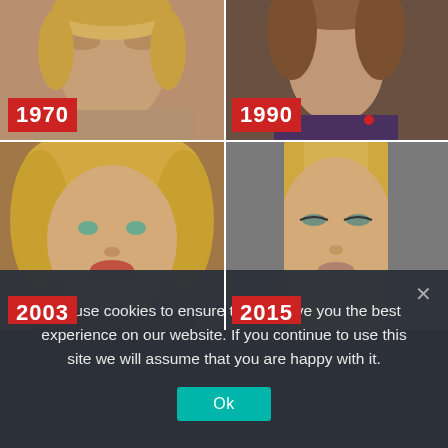[Figure (photo): Four-panel photo collage showing a person at different years: 1970 (top-left), 1990 (top-right), 2003 (bottom-left, partially cropped), 2015 (bottom-right, partially cropped). Each panel has a red year badge in the lower-left corner.]
We use cookies to ensure that we give you the best experience on our website. If you continue to use this site we will assume that you are happy with it.
Ok